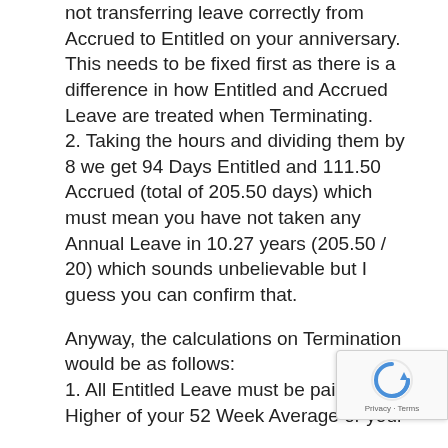not transferring leave correctly from Accrued to Entitled on your anniversary. This needs to be fixed first as there is a difference in how Entitled and Accrued Leave are treated when Terminating. 2. Taking the hours and dividing them by 8 we get 94 Days Entitled and 111.50 Accrued (total of 205.50 days) which must mean you have not taken any Annual Leave in 10.27 years (205.50 / 20) which sounds unbelievable but I guess you can confirm that.
Anyway, the calculations on Termination would be as follows: 1. All Entitled Leave must be paid at Higher of your 52 Week Average or your